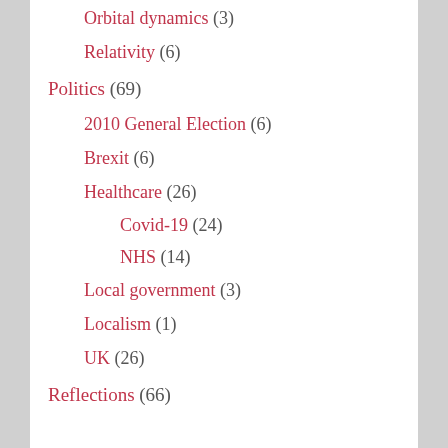Orbital dynamics (3)
Relativity (6)
Politics (69)
2010 General Election (6)
Brexit (6)
Healthcare (26)
Covid-19 (24)
NHS (14)
Local government (3)
Localism (1)
UK (26)
Reflections (66)